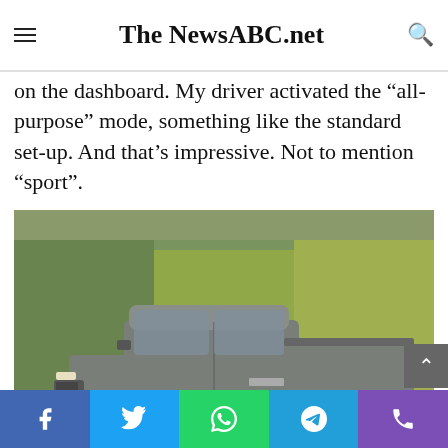The NewsABC.net
on the dashboard. My driver activated the “all-purpose” mode, something like the standard set-up. And that’s impressive. Not to mention “sport”.
[Figure (photo): A silver/grey Rivian R1T electric pickup truck parked in a parking lot with autumn trees in the background.]
Social share bar: Facebook, Twitter, WhatsApp, Telegram, Phone